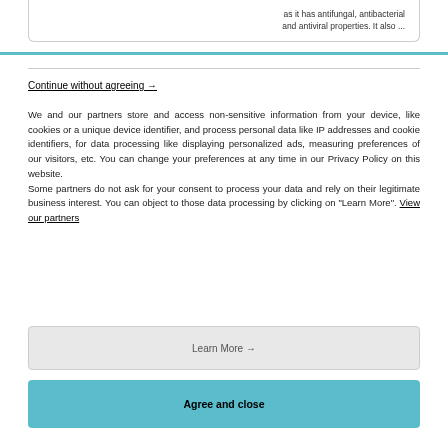as it has antifungal, antibacterial and antiviral properties. It also ...
Continue without agreeing →
We and our partners store and access non-sensitive information from your device, like cookies or a unique device identifier, and process personal data like IP addresses and cookie identifiers, for data processing like displaying personalized ads, measuring preferences of our visitors, etc. You can change your preferences at any time in our Privacy Policy on this website.
Some partners do not ask for your consent to process your data and rely on their legitimate business interest. You can object to those data processing by clicking on "Learn More". View our partners
Learn More →
Agree and close